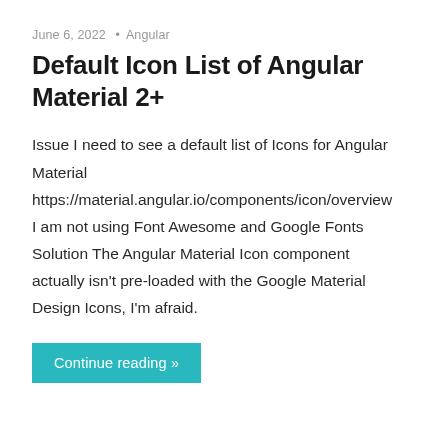June 6, 2022 • Angular
Default Icon List of Angular Material 2+
Issue I need to see a default list of Icons for Angular Material https://material.angular.io/components/icon/overview I am not using Font Awesome and Google Fonts Solution The Angular Material Icon component actually isn't pre-loaded with the Google Material Design Icons, I'm afraid.
Continue reading »